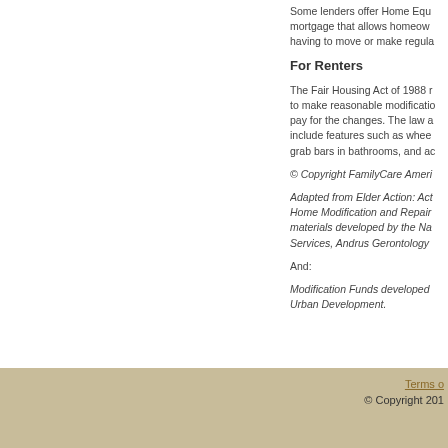Some lenders offer Home Equity mortgage that allows homeowners having to move or make regular payments.
For Renters
The Fair Housing Act of 1988 requires to make reasonable modifications and pay for the changes. The law also must include features such as wheelchair ramps, grab bars in bathrooms, and accessible doors.
© Copyright FamilyCare America
Adapted from Elder Action: Action on Home Modification and Repair materials developed by the National Services, Andrus Gerontology
And:
Modification Funds developed by Urban Development.
Terms of Use  © Copyright 2011